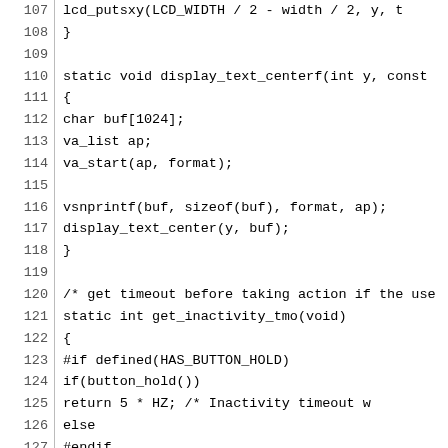Code listing lines 107-136, C source code showing lcd_putsxy, display_text_centerf, get_inactivity_tmo, and inactivity_action functions